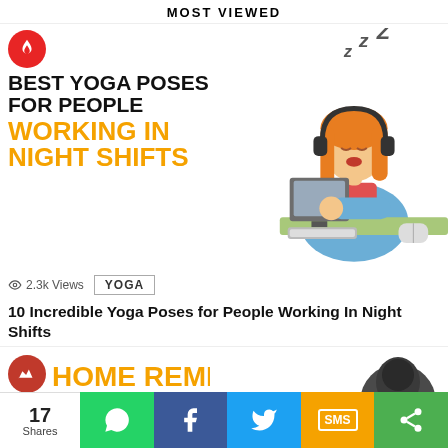MOST VIEWED
[Figure (illustration): Illustration of a woman with red hair wearing headphones, sleeping at a desk with a computer, with zzz text above her head. Left side shows bold text: BEST YOGA POSES FOR PEOPLE WORKING IN NIGHT SHIFTS with a fire badge icon.]
2.3k Views   YOGA
10 Incredible Yoga Poses for People Working In Night Shifts
[Figure (illustration): Partial view of a second article card showing HOME REMEDIES text in orange with a trending arrow badge, and a partial illustration of a dark hooded figure on the right.]
17 Shares